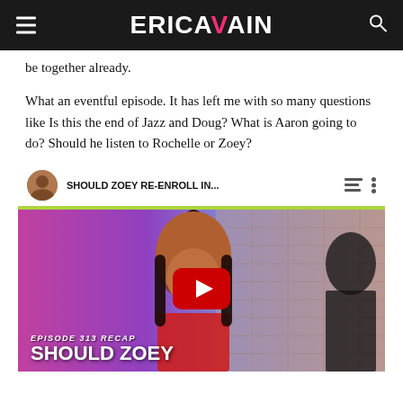ERICA VAIN
be together already.
What an eventful episode. It has left me with so many questions like Is this the end of Jazz and Doug? What is Aaron going to do? Should he listen to Rochelle or Zoey?
[Figure (screenshot): YouTube video embed showing 'SHOULD ZOEY RE-ENROLL IN...' with thumbnail of a smiling young Black woman and text overlay reading 'EPISODE 313 RECAP' and 'SHOULD ZOEY']